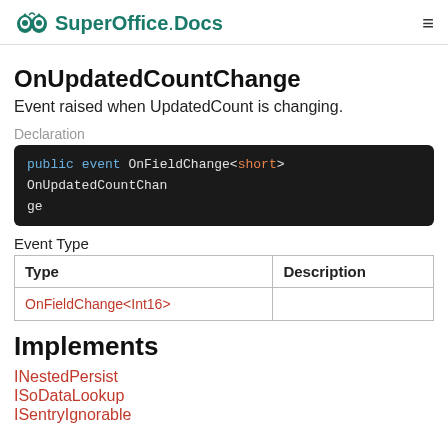SuperOffice.Docs
OnUpdatedCountChange
Event raised when UpdatedCount is changing.
Declaration
public event OnFieldChange<short> OnUpdatedCountChange
Event Type
| Type | Description |
| --- | --- |
| OnFieldChange<Int16> |  |
Implements
INestedPersist
ISoDataLookup
ISentryIgnorable